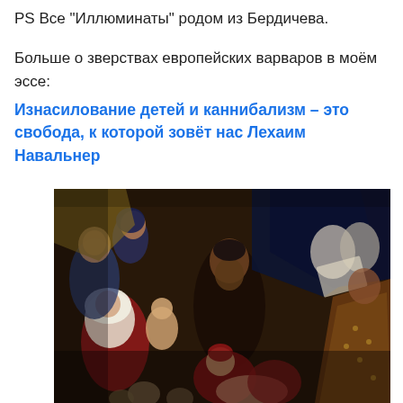PS Все "Иллюминаты" родом из Бердичева.
Больше о зверствах европейских варваров в моём эссе:
Изнасилование детей и каннибализм – это свобода, к которой зовёт нас Лехаим Навальнер
[Figure (illustration): A dark Renaissance-style painting depicting a violent scene with multiple figures including women, children, and an older bearded man in dark robes.]